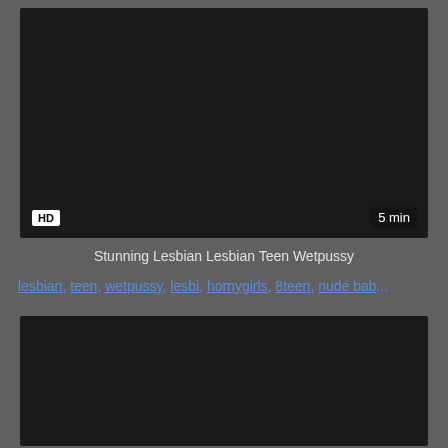[Figure (screenshot): Dark video thumbnail with HD badge bottom-left and '5 min' duration badge bottom-right]
Stunning Lesbian Lesbian Teen Wetpussy
lesbian, teen, wetpussy, lesbi, hornygirls, 8teen, nude bab...
[Figure (screenshot): Second dark video thumbnail, partially visible]